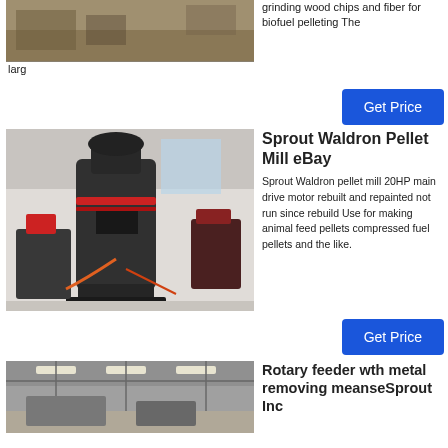[Figure (photo): Industrial machinery photo at top, partially cropped]
grinding wood chips and fiber for biofuel pelleting The
larg
[Figure (other): Blue 'Get Price' button]
[Figure (photo): Sprout Waldron pellet mill machine in an industrial facility]
Sprout Waldron Pellet Mill eBay
Sprout Waldron pellet mill 20HP main drive motor rebuilt and repainted not run since rebuild Use for making animal feed pellets compressed fuel pellets and the like.
[Figure (other): Blue 'Get Price' button]
[Figure (photo): Rotary feeder in industrial warehouse setting]
Rotary feeder wth metal removing meanseSprout Inc